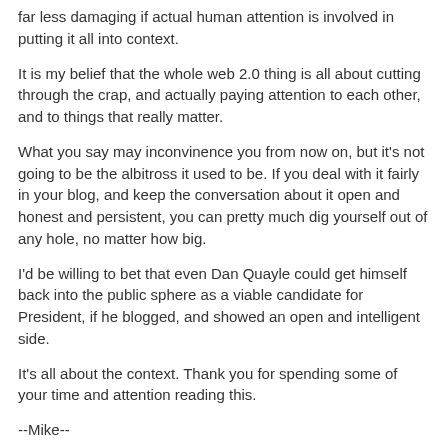far less damaging if actual human attention is involved in putting it all into context.
It is my belief that the whole web 2.0 thing is all about cutting through the crap, and actually paying attention to each other, and to things that really matter.
What you say may inconvinence you from now on, but it's not going to be the albitross it used to be. If you deal with it fairly in your blog, and keep the conversation about it open and honest and persistent, you can pretty much dig yourself out of any hole, no matter how big.
I'd be willing to bet that even Dan Quayle could get himself back into the public sphere as a viable candidate for President, if he blogged, and showed an open and intelligent side.
It's all about the context. Thank you for spending some of your time and attention reading this.
--Mike--